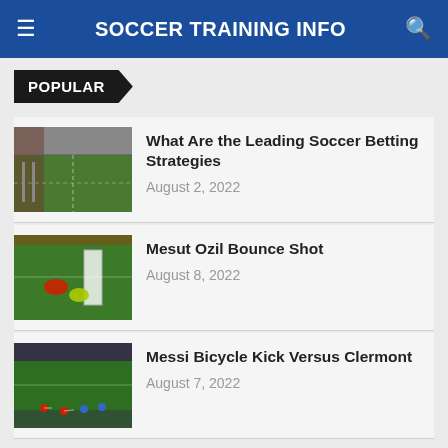SOCCER TRAINING INFO
POPULAR
What Are the Leading Soccer Betting Strategies
August 2, 2022
Mesut Ozil Bounce Shot
August 8, 2022
Messi Bicycle Kick Versus Clermont
August 7, 2022